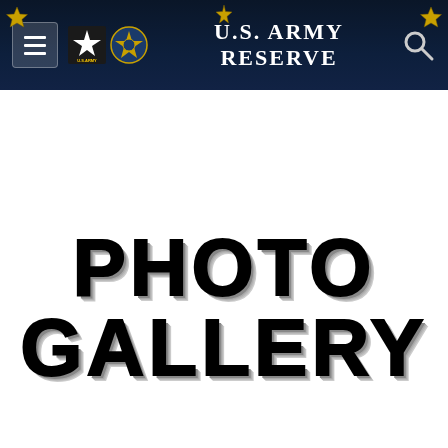U.S. Army Reserve
PHOTO GALLERY